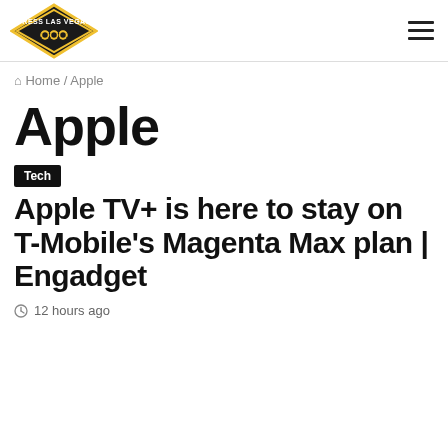PRESS LAS VEGAS [logo]
Home / Apple
Apple
Tech
Apple TV+ is here to stay on T-Mobile's Magenta Max plan | Engadget
12 hours ago